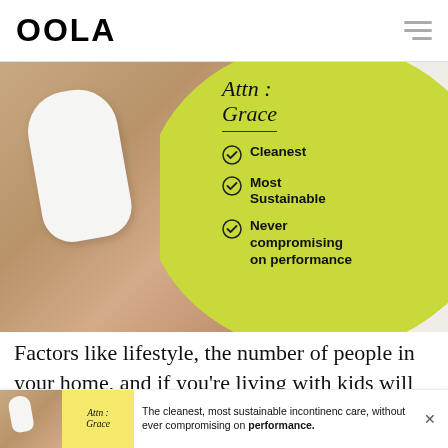OOLA
[Figure (photo): Advertisement for Attn: Grace incontinence products. Shows a person's hands holding a white pad, with a yellow-green blob graphic. Text reads: 'Attn: Grace' with checkmarks for 'Cleanest', 'Most Sustainable', 'Never compromising on performance']
Factors like lifestyle, the number of people in your home, and if you're living with kids will also determine how often you need a cleaning
[Figure (infographic): Bottom banner advertisement for Attn: Grace. Shows product image, logo, and text: 'The cleanest, most sustainable incontinence care, without ever compromising on performance.']